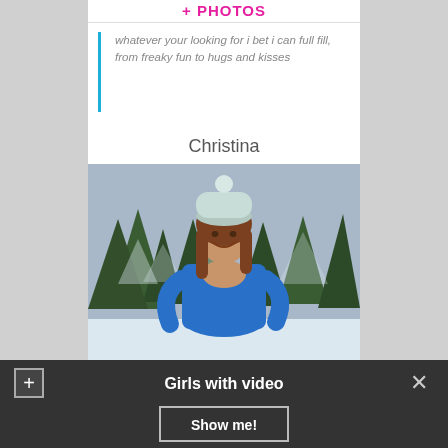+ PHOTOS
whatever your looking for i bet i can full fill, from freaky fun to hugs and kisses
Christina
[Figure (photo): Young woman wearing a blue long-sleeve top and knit winter hat, smiling outdoors in a snowy forest setting with snow-covered evergreen trees in the background.]
Girls with video
Show me!